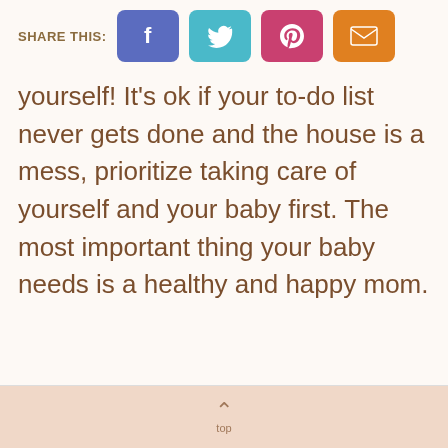[Figure (infographic): Social share bar with SHARE THIS: label and four colored buttons: Facebook (blue), Twitter (teal), Pinterest (pink/red), Email (orange)]
yourself! It's ok if your to-do list never gets done and the house is a mess, prioritize taking care of yourself and your baby first. The most important thing your baby needs is a healthy and happy mom.
^ top